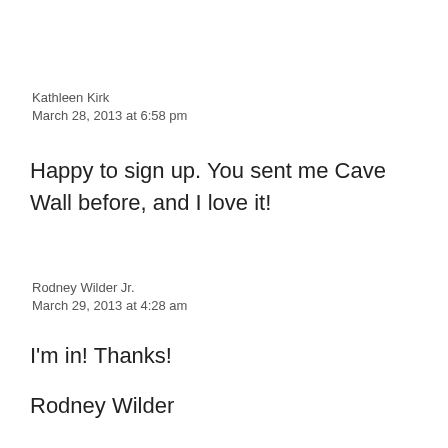Kathleen Kirk
March 28, 2013 at 6:58 pm
Happy to sign up. You sent me Cave Wall before, and I love it!
Rodney Wilder Jr.
March 29, 2013 at 4:28 am
I'm in! Thanks!
Rodney Wilder